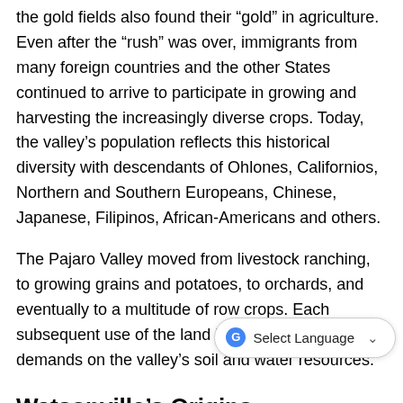the gold fields also found their “gold” in agriculture. Even after the “rush” was over, immigrants from many foreign countries and the other States continued to arrive to participate in growing and harvesting the increasingly diverse crops. Today, the valley’s population reflects this historical diversity with descendants of Ohlones, Californios, Northern and Southern Europeans, Chinese, Japanese, Filipinos, African-Americans and others.
The Pajaro Valley moved from livestock ranching, to growing grains and potatoes, to orchards, and eventually to a multitude of row crops. Each subsequent use of the land has placed more demands on the valley’s soil and water resources.
Watsonville's Origins
Incorporated on March 30,1868 Wat... name from Judge John Watson, who filed a claim in 1851...